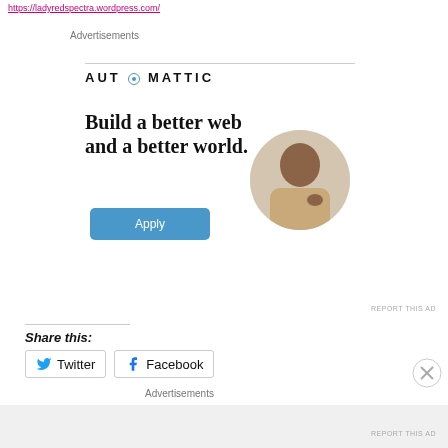https://ladyredspectra.wordpress.com/
Advertisements
[Figure (logo): Automattic logo with stylized O icon and bold spaced lettering]
Build a better web and a better world.
[Figure (photo): A circular-cropped photo of a man leaning on his hand, looking upward, sitting at a desk]
Apply
REPORT THIS AD
Share this:
Twitter
Facebook
Advertisements
REPORT THIS AD